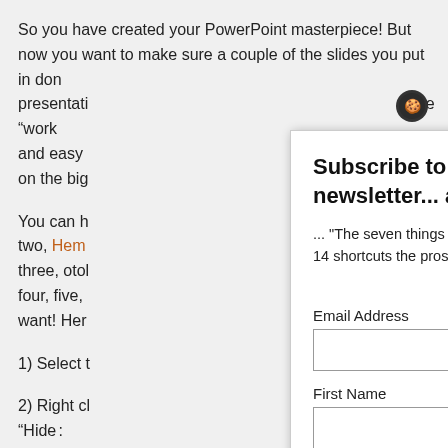So you have created your PowerPoint masterpiece!  But now you want to make sure a couple of the slides you put in don...
You can h... two, Hemc... three, otob... four, five, f... want!  Her...
1) Select t...
2) Right cl... ck “Hide :
Simple as
Subscribe to our Microsoft Office tips and tricks newsletter... and get your FREE copy of

... "The seven things everyone should be able to do in Microsoft Office (plus the 14 shortcuts the pros know!)"

* indicates required

Email Address

First Name

Last Name